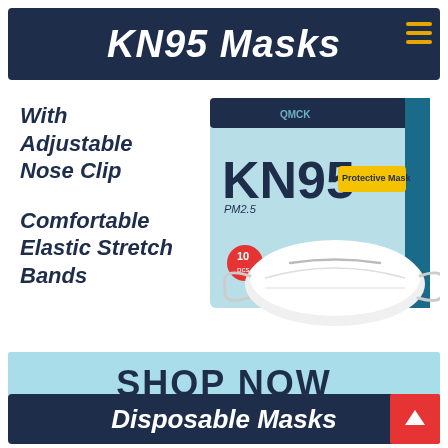KN95 Masks
[Figure (photo): KN95 box product: light blue box labeled KN95 PM2.5 Protective Mask, 10 pcs, with a white KN95 mask in front]
With Adjustable Nose Clip
Comfortable Elastic Stretch Bands
SHOP NOW
Disposable Masks